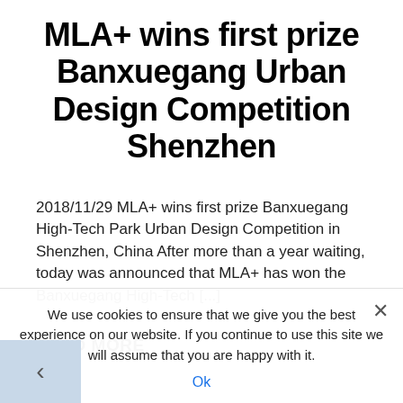MLA+ wins first prize Banxuegang Urban Design Competition Shenzhen
2018/11/29 MLA+ wins first prize Banxuegang High-Tech Park Urban Design Competition in Shenzhen, China After more than a year waiting, today was announced that MLA+ has won the Banxuegang High-Tech [...]
READ MORE
We use cookies to ensure that we give you the best experience on our website. If you continue to use this site we will assume that you are happy with it.
Ok